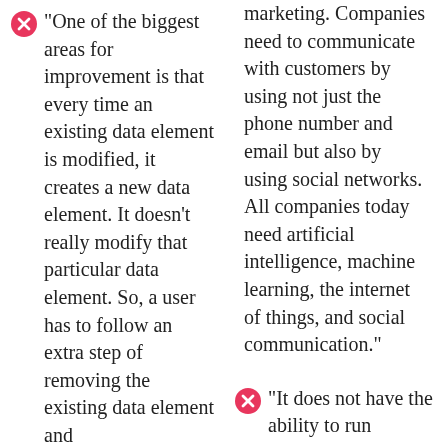"One of the biggest areas for improvement is that every time an existing data element is modified, it creates a new data element. It doesn't really modify that particular data element. So, a user has to follow an extra step of removing the existing data element and
marketing. Companies need to communicate with customers by using not just the phone number and email but also by using social networks. All companies today need artificial intelligence, machine learning, the internet of things, and social communication."
"It does not have the ability to run